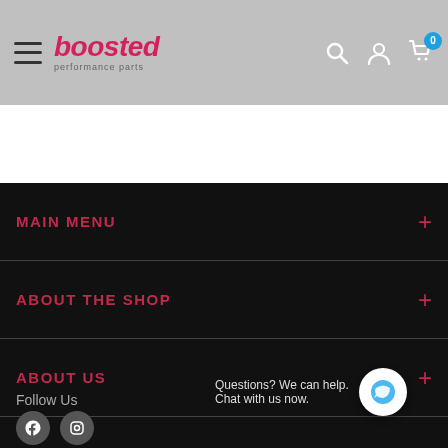boosted performance parts — navigation header with search, account, and cart icons
Secure payments online
MAIN MENU
ABOUT THE SHOP
ABOUT US
Follow Us
Questions? We can help. Chat with us now.